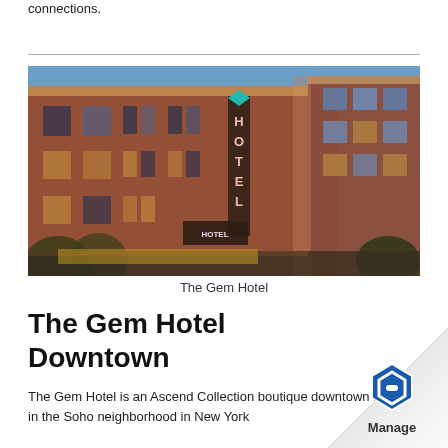connections.
[Figure (photo): Exterior photograph of The Gem Hotel, a red brick multi-story building at night with illuminated windows and a vertical neon sign reading HOTEL, with a secondary sign reading THE GEM HOTEL]
The Gem Hotel
The Gem Hotel Downtown
The Gem Hotel is an Ascend Collection boutique downtown hotel in the Soho neighborhood in New York